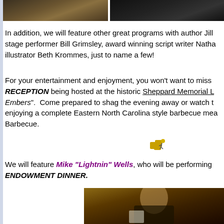[Figure (photo): Two photos side by side at the top of the page: left shows a person in a patterned jacket, right shows a dark/dimly lit image]
In addition, we will feature other great programs with author Jill stage performer Bill Grimsley, award winning script writer Natha illustrator Beth Krommes, just to name a few!
For your entertainment and enjoyment, you won't want to miss the RECEPTION being hosted at the historic Sheppard Memorial L Embers". Come prepared to shag the evening away or watch t enjoying a complete Eastern North Carolina style barbecue mea Barbecue.
[Figure (illustration): Small puzzle piece icon with a figure/person silhouette]
We will feature Mike "Lightnin" Wells, who will be performing ENDOWMENT DINNER.
[Figure (photo): Photo of a musician with curly hair playing guitar, bottom right of page]